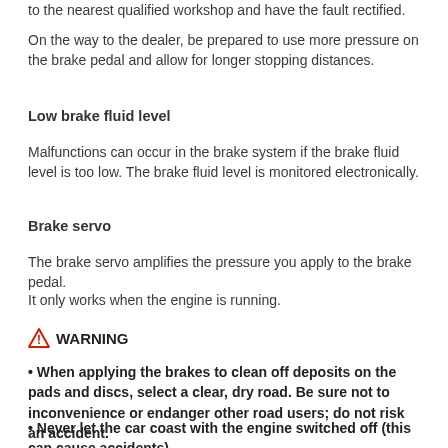to the nearest qualified workshop and have the fault rectified.
On the way to the dealer, be prepared to use more pressure on the brake pedal and allow for longer stopping distances.
Low brake fluid level
Malfunctions can occur in the brake system if the brake fluid level is too low. The brake fluid level is monitored electronically.
Brake servo
The brake servo amplifies the pressure you apply to the brake pedal.
It only works when the engine is running.
WARNING
• When applying the brakes to clean off deposits on the pads and discs, select a clear, dry road. Be sure not to inconvenience or endanger other road users; do not risk an accident.
• Never let the car coast with the engine switched off (this can cause accidents).